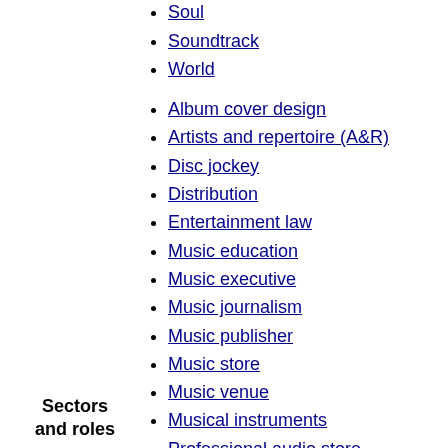Rock
Soul
Soundtrack
World
Album cover design
Artists and repertoire (A&R)
Disc jockey
Distribution
Entertainment law
Music education
Music executive
Music journalism
Music publisher
Music store
Music venue
Musical instruments
Professional audio store
Promotion
Radio promotion
Record label
Record shop
Road crew
Talent manager
Tour promoter
Sectors and roles